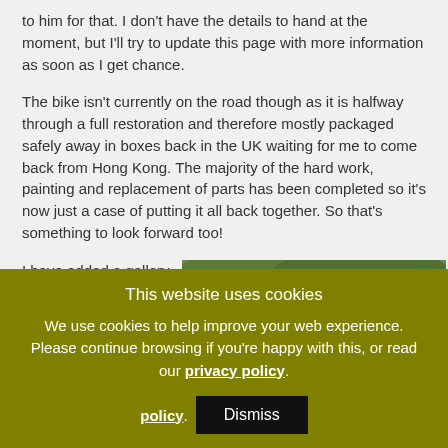to him for that. I don't have the details to hand at the moment, but I'll try to update this page with more information as soon as I get chance.
The bike isn't currently on the road though as it is halfway through a full restoration and therefore mostly packaged safely away in boxes back in the UK waiting for me to come back from Hong Kong. The majority of the hard work, painting and replacement of parts has been completed so it's now just a case of putting it all back together. So that's something to look forward too!
I have added a gallery of photo's of the bike which
[Figure (photo): Outdoor rocky moorland landscape with large boulders and heather, with a motorcycle handlebar visible in the lower left foreground.]
This website uses cookies
We use cookies to help improve your web experience. Please continue browsing if you're happy with this, or read our privacy policy.
Dismiss